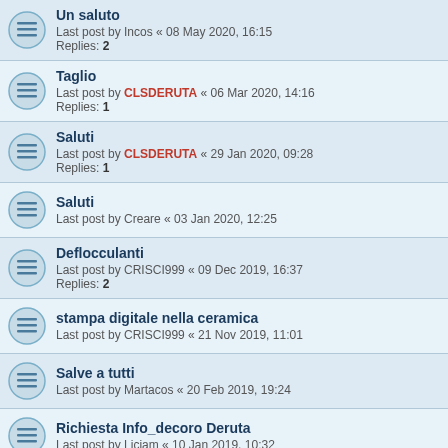Un saluto
Last post by Incos « 08 May 2020, 16:15
Replies: 2
Taglio
Last post by CLSDERUTA « 06 Mar 2020, 14:16
Replies: 1
Saluti
Last post by CLSDERUTA « 29 Jan 2020, 09:28
Replies: 1
Saluti
Last post by Creare « 03 Jan 2020, 12:25
Deflocculanti
Last post by CRISCI999 « 09 Dec 2019, 16:37
Replies: 2
stampa digitale nella ceramica
Last post by CRISCI999 « 21 Nov 2019, 11:01
Salve a tutti
Last post by Martacos « 20 Feb 2019, 19:24
Richiesta Info_decoro Deruta
Last post by Liciam « 10 Jan 2019, 10:32
New Topic | Sort | 96 topics | Page 1 2 3 4 5 ... 7 >